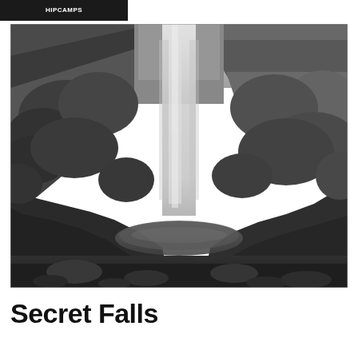HIPCAMPS
[Figure (photo): Black and white photograph of Secret Falls waterfall surrounded by dense tropical vegetation and rocky cliffs, with a pool of water at the base]
Secret Falls